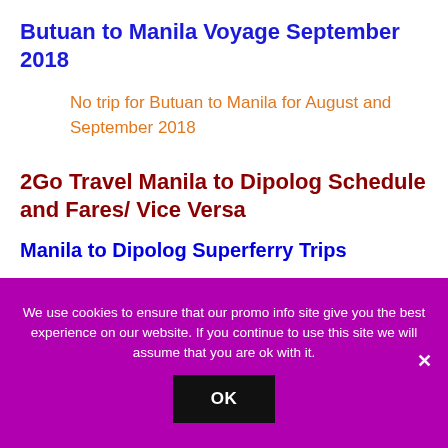Butuan to Manila Voyage September 2018
No trip for Butuan to Manila for August and September 2018
2Go Travel Manila to Dipolog Schedule and Fares/ Vice Versa
Manila to Dipolog Superferry Trips
Every Sunday at 8PM; via St. Michael The Archangel
We use cookies to ensure that our promo info site give you the best experience on our website. If you continue to use this site we will assume that you are ok with it.